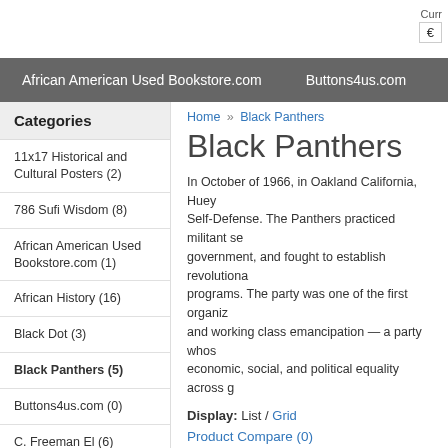Curr €
African American Used Bookstore.com   Buttons4us.com   CDs   DV
Home » Black Panthers
Black Panthers
In October of 1966, in Oakland California, Huey Self-Defense. The Panthers practiced militant se government, and fought to establish revolutiona programs. The party was one of the first organiz and working class emancipation — a party whos economic, social, and political equality across g
Display: List / Grid
Product Compare (0)
Categories
11x17 Historical and Cultural Posters (2)
786 Sufi Wisdom (8)
African American Used Bookstore.com (1)
African History (16)
Black Dot (3)
Black Panthers (5)
Buttons4us.com (0)
C. Freeman El (6)
Passin It On